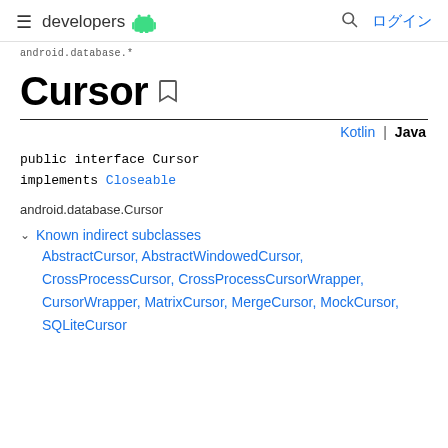≡ developers 🤖  🔍 ログイン
android.database.*
Cursor
Kotlin | Java
public interface Cursor
implements Closeable
android.database.Cursor
Known indirect subclasses
AbstractCursor, AbstractWindowedCursor, CrossProcessCursor, CrossProcessCursorWrapper, CursorWrapper, MatrixCursor, MergeCursor, MockCursor, SQLiteCursor